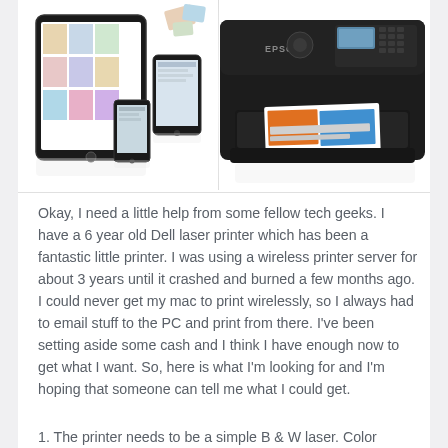[Figure (photo): Left side: tablet (iPad-like device showing colorful app icons), smartphone showing a page, and a small phone – technology devices shown in a product-style layout with reflections on white background.]
[Figure (photo): Right side: Black Epson all-in-one inkjet printer with a printed colorful page partially ejected from the output tray.]
Okay, I need a little help from some fellow tech geeks. I have a 6 year old Dell laser printer which has been a fantastic little printer. I was using a wireless printer server for about 3 years until it crashed and burned a few months ago. I could never get my mac to print wirelessly, so I always had to email stuff to the PC and print from there. I've been setting aside some cash and I think I have enough now to get what I want. So, here is what I'm looking for and I'm hoping that someone can tell me what I could get.
1. The printer needs to be a simple B & W laser. Color